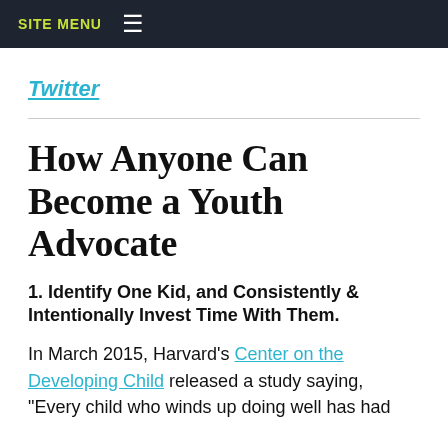SITE MENU
Twitter
How Anyone Can Become a Youth Advocate
1. Identify One Kid, and Consistently & Intentionally Invest Time With Them.
In March 2015, Harvard's Center on the Developing Child released a study saying, "Every child who winds up doing well has had